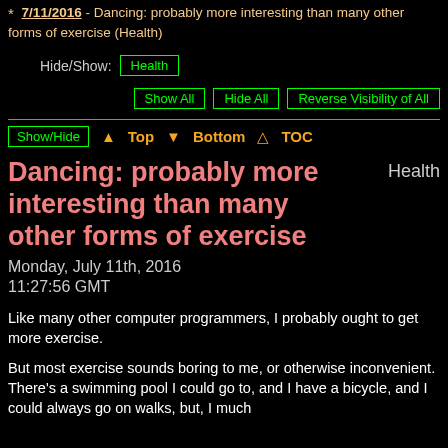7/11/2016 - Dancing: probably more interesting than many other forms of exercise (Health)
Hide/Show: Health
Show All   Hide All   Reverse Visibility of All
Show/Hide  ▲ Top  ▼ Bottom  △ TOC
Dancing: probably more interesting than many other forms of exercise
Health
Monday, July 11th, 2016
11:27:56 GMT
Like many other computer programmers, I probably ought to get more exercise.
But most exercise sounds boring to me, or otherwise inconvenient. There's a swimming pool I could go to, and I have a bicycle, and I could always go on walks, but, I much